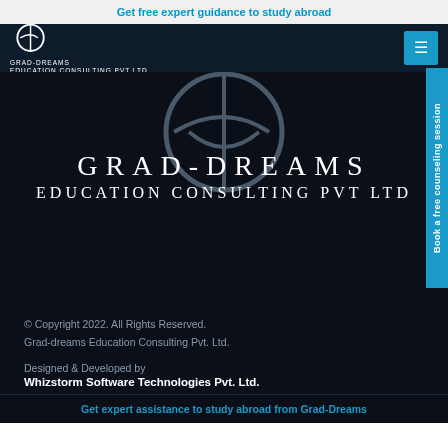Get free expert guidance to study abroad
[Figure (logo): Grad-Dreams Education Consulting Pvt Ltd logo in navigation bar]
[Figure (logo): Large Grad-Dreams circular logo watermark in hero section]
GRAD-DREAMS
EDUCATION CONSULTING PVT LTD
© Copyright 2022. All Rights Reserved.
Grad-dreams Education Consulting Pvt. Ltd.
Designed & Developed by
Whizstorm Software Technologies Pvt. Ltd.
Get expert assistance to study abroad from Grad-Dreams